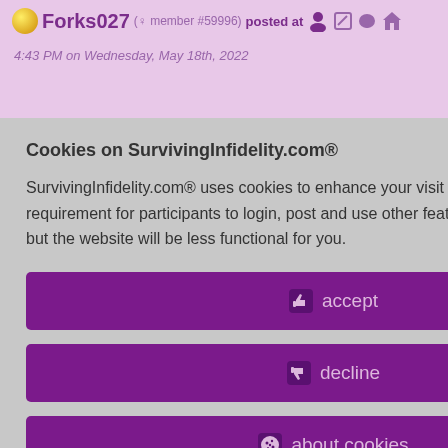Forks027 (♀ member #59996) posted at 4:43 PM on Wednesday, May 18th, 2022
...ess just
...oes. It's just
id 8735867
:32
Policy
Cookies on SurvivingInfidelity.com®
SurvivingInfidelity.com® uses cookies to enhance your visit to our website. This is a requirement for participants to login, post and use other features. Visitors may opt out, but the website will be less functional for you.
👍 accept
👎 decline
🍪 about cookies